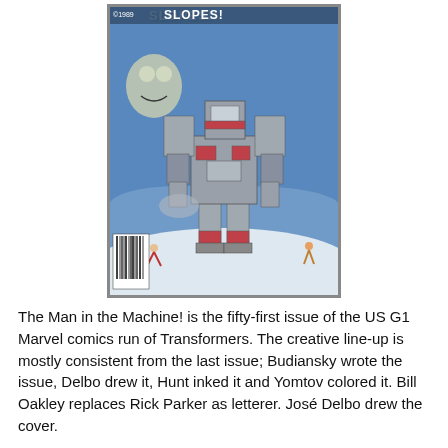[Figure (illustration): Comic book cover showing a large Transformer robot (Metroplex) on a snowy ski slope with skiers and monsters. Title text 'SLOPES!' visible at top. Barcode on lower left.]
The Man in the Machine! is the fifty-first issue of the US G1 Marvel comics run of Transformers.  The creative line-up is mostly consistent from the last issue; Budiansky wrote the issue, Delbo drew it, Hunt inked it and Yomtov colored it.  Bill Oakley replaces Rick Parker as letterer. José Delbo drew the cover.
I find the cover to be fairly disappointing.  A headless